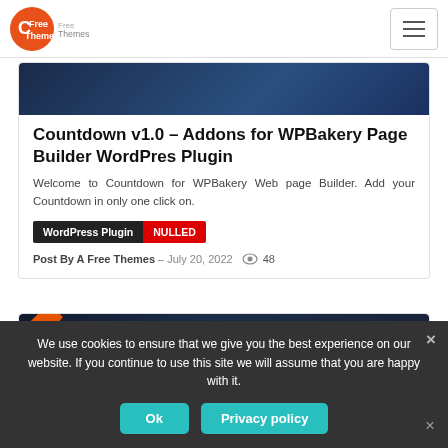A Free Themes — Free Themes logo and hamburger menu
[Figure (screenshot): Dark blue banner image at top of card]
Countdown v1.0 – Addons for WPBakery Page Builder WordPres Plugin
Welcome to Countdown for WPBakery Web page Builder. Add your Countdown in only one click on.
WordPress Plugin  NULLED
Post By A Free Themes – July 20, 2022  👁 48
[Figure (screenshot): Eventry Conference v1.1 dark themed WordPress theme banner with 20% off badge and scroll-up button]
We use cookies to ensure that we give you the best experience on our website. If you continue to use this site we will assume that you are happy with it.
Ok  Privacy policy